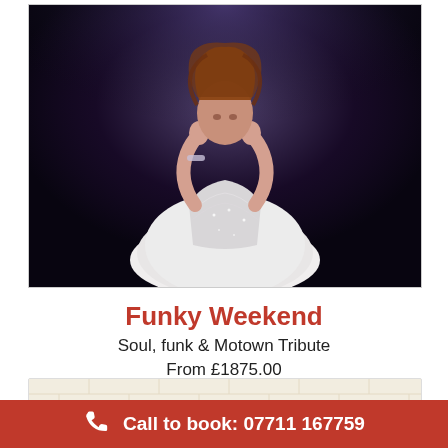[Figure (photo): Female performer on stage wearing a sparkling silver/white ball gown dress with hands raised near her face, curly auburn hair, dark stage background with purple lighting]
Funky Weekend
Soul, funk & Motown Tribute
From £1875.00
[Figure (photo): Partial view of a second image with a cream/beige brick wall background and partial text visible]
Call to book: 07711 167759